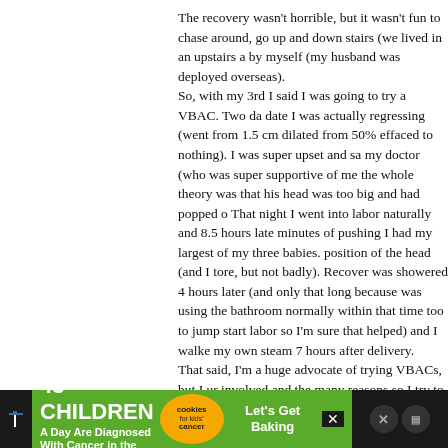The recovery wasn't horrible, but it wasn't fun to chase around, go up and down stairs (we lived in an upstairs a by myself (my husband was deployed overseas). So, with my 3rd I said I was going to try a VBAC. Two da date I was actually regressing (went from 1.5 cm dilated from 50% effaced to nothing). I was super upset and sa my doctor (who was super supportive of me the whole theory was that his head was too big and had popped o That night I went into labor naturally and 8.5 hours late minutes of pushing I had my largest of my three babies. position of the head (and I tore, but not badly). Recover was showered 4 hours later (and only that long because was using the bathroom normally within that time too to jump start labor so I'm sure that helped) and I walke my own steam 7 hours after delivery. That said, I'm a huge advocate of trying VBACs, but I ur involved and the many reasons so I try to be a good che way.
[Figure (infographic): Advertisement banner: '43 CHILDREN A Day Are Diagnosed With Cancer in the U.S.' with cookies for kids' cancer logo and 'Let's Get Baking' call to action. Dark background with social media icons on right.]